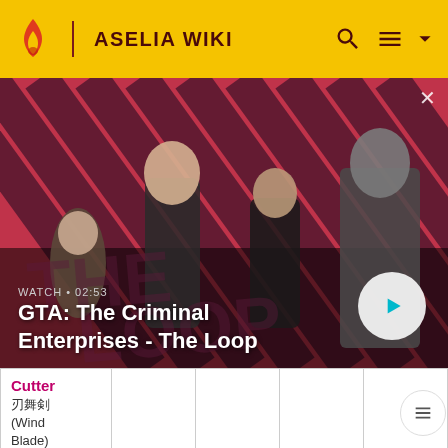ASELIA WIKI
[Figure (screenshot): GTA: The Criminal Enterprises - The Loop promotional video thumbnail showing characters on a diagonal striped red/dark background with a play button overlay. Watch time shown as 02:53.]
| Cutter
刃舞剣
(Wind Blade) |  |  |  |  |
| Dispel
解呪 | – | – | – | – |